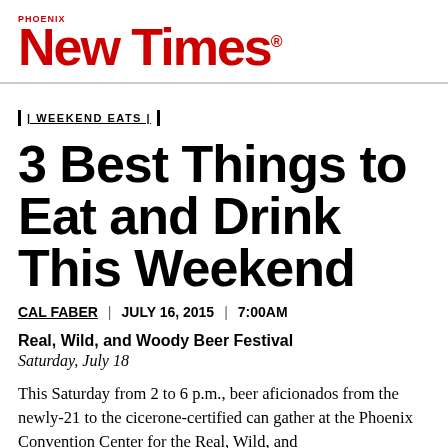Phoenix New Times
WEEKEND EATS
3 Best Things to Eat and Drink This Weekend
CAL FABER | JULY 16, 2015 | 7:00AM
Real, Wild, and Woody Beer Festival
Saturday, July 18
This Saturday from 2 to 6 p.m., beer aficionados from the newly-21 to the cicerone-certified can gather at the Phoenix Convention Center for the Real, Wild, and...